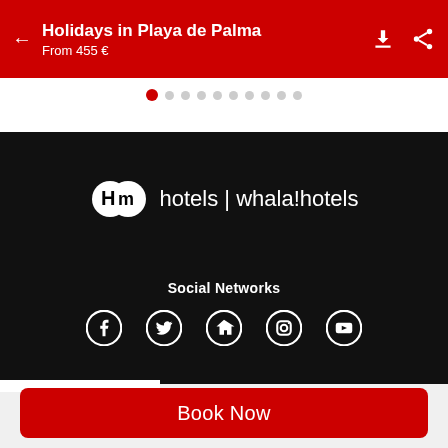Holidays in Playa de Palma
From 455 €
[Figure (logo): HM Hotels | whala!hotels brand logo on black background with HM circular icon]
Social Networks
[Figure (infographic): Social network icons: Facebook, Twitter, Home/Blog, Instagram, YouTube]
Book Now